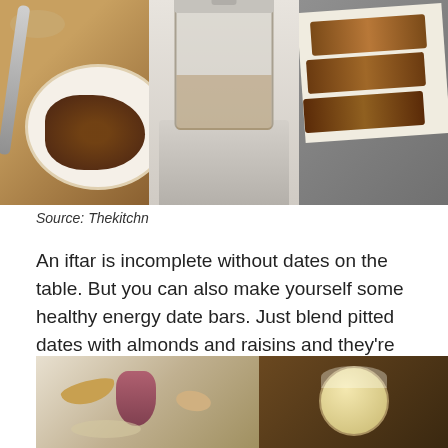[Figure (photo): Three-panel photo strip showing: almonds and dates in a measuring cup/bowl on wooden surface, a blender with ingredients, and date energy bars on parchment paper]
Source: Thekitchn
An iftar is incomplete without dates on the table. But you can also make yourself some healthy energy date bars. Just blend pitted dates with almonds and raisins and they’re ready to be served.
Recipe here!
2. Dry Fruits Milkshake
[Figure (photo): Two-panel photo showing: dry fruits including almonds and figs on left, a glass of milkshake on right with dark wooden background]